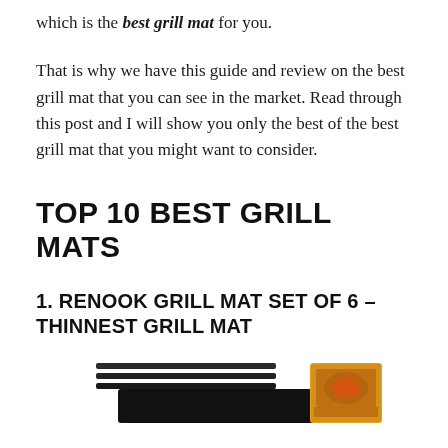which is the best grill mat for you.
That is why we have this guide and review on the best grill mat that you can see in the market. Read through this post and I will show you only the best of the best grill mat that you might want to consider.
TOP 10 BEST GRILL MATS
1. RENOOK GRILL MAT SET OF 6 – THINNEST GRILL MAT
[Figure (photo): Product photo of Renook Grill Mat Set of 6, showing black grill mats stacked and product box with food imagery]